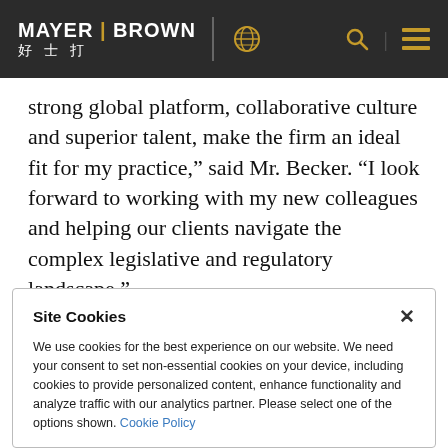MAYER BROWN 好士打
strong global platform, collaborative culture and superior talent, make the firm an ideal fit for my practice,” said Mr. Becker. “I look forward to working with my new colleagues and helping our clients navigate the complex legislative and regulatory landscape.”
During the earlier part of his career, Mr. Becker practiced law at a large, national law firm. Before
Site Cookies
We use cookies for the best experience on our website. We need your consent to set non-essential cookies on your device, including cookies to provide personalized content, enhance functionality and analyze traffic with our analytics partner. Please select one of the options shown. Cookie Policy